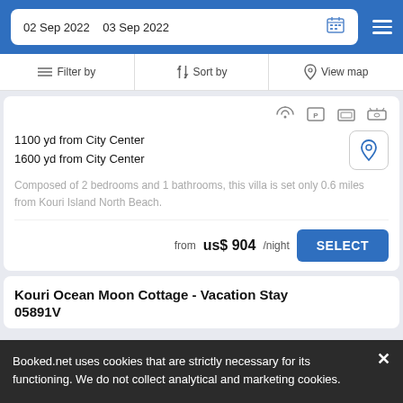02 Sep 2022  03 Sep 2022
Filter by  Sort by  View map
1100 yd from City Center
1600 yd from City Center
Composed of 2 bedrooms and 1 bathrooms, this villa is set only 0.6 miles from Kouri Island North Beach.
from  us$ 904/night  SELECT
Kouri Ocean Moon Cottage - Vacation Stay
05891V
Booked.net uses cookies that are strictly necessary for its functioning. We do not collect analytical and marketing cookies.